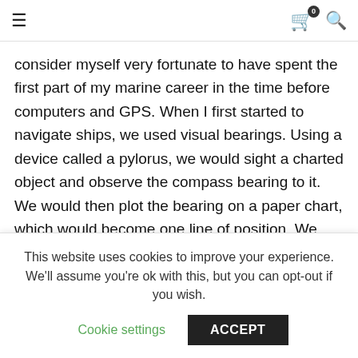≡  🛒 0  🔍
consider myself very fortunate to have spent the first part of my marine career in the time before computers and GPS. When I first started to navigate ships, we used visual bearings. Using a device called a pylorus, we would sight a charted object and observe the compass bearing to it. We would then plot the bearing on a paper chart, which would become one line of position. We also used radar ranges from analog radar, again plotting those ranges, usually from a charted land mass. Radio beacons were tuned in using a radio direction finder to, once again, plot
This website uses cookies to improve your experience. We'll assume you're ok with this, but you can opt-out if you wish.
Cookie settings   ACCEPT